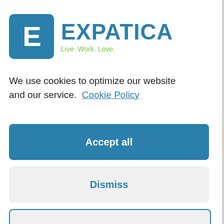[Figure (logo): Expatica logo: blue rounded square with white letter E, followed by 'EXPATICA' in large blue text and 'Live. Work. Love.' tagline in green]
We use cookies to optimize our website and our service.  Cookie Policy
Accept all
Dismiss
Preferences